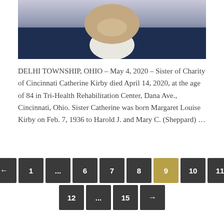[Figure (photo): Portrait photo of Sister Catherine Kirby, an elderly woman in dark clothing, cropped at upper body, shown from chin down with hand near chin.]
DELHI TOWNSHIP, OHIO – May 4, 2020 – Sister of Charity of Cincinnati Catherine Kirby died April 14, 2020, at the age of 84 in Tri-Health Rehabilitation Center, Dana Ave., Cincinnati, Ohio. Sister Catherine was born Margaret Louise Kirby on Feb. 7, 1936 to Harold J. and Mary C. (Sheppard) …
← 1 ... 6 7 8 9 10 11 12 ... 15 →